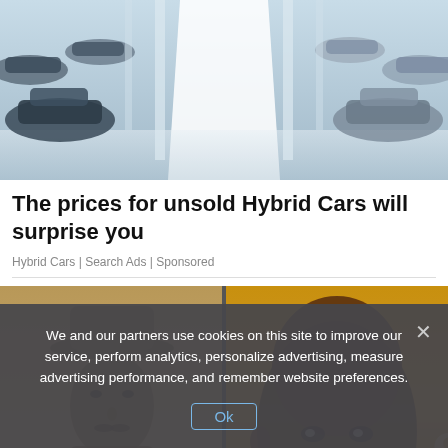[Figure (photo): Overhead view of a car dealership lot with many silver/dark cars parked in rows, bright white lighting between rows.]
The prices for unsold Hybrid Cars will surprise you
Hybrid Cars | Search Ads | Sponsored
[Figure (photo): Split image showing a sepia-toned vintage portrait of a man wearing a hat on the left, and a modern photo of a man's face on the right against a golden background.]
We and our partners use cookies on this site to improve our service, perform analytics, personalize advertising, measure advertising performance, and remember website preferences.